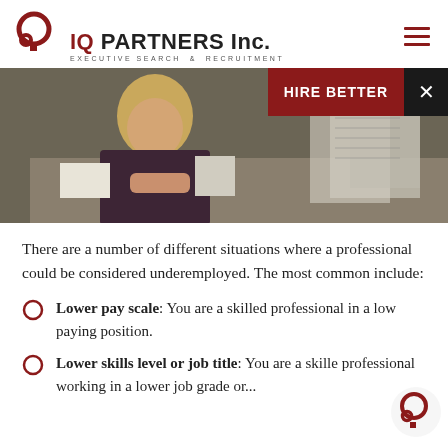IQ PARTNERS Inc. EXECUTIVE SEARCH & RECRUITMENT
[Figure (photo): Woman looking stressed at a desk with files and paperwork, with a 'HIRE BETTER' banner in the top right corner]
There are a number of different situations where a professional could be considered underemployed. The most common include:
Lower pay scale: You are a skilled professional in a low paying position.
Lower skills level or job title: You are a skilled professional working in a lower job grade or...